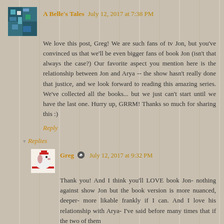A Belle's Tales  July 12, 2017 at 7:38 PM
We love this post, Greg! We are such fans of tv Jon, but you've convinced us that we'll be even bigger fans of book Jon (isn't that always the case?) Our favorite aspect you mention here is the relationship between Jon and Arya -- the show hasn't really done that justice, and we look forward to reading this amazing series. We've collected all the books... but we just can't start until we have the last one. Hurry up, GRRM! Thanks so much for sharing this :)
Reply
Replies
Greg  July 12, 2017 at 9:32 PM
Thank you! And I think you'll LOVE book Jon- nothing against show Jon but the book version is more nuanced, deeper- more likable frankly if I can. And I love his relationship with Arya- I've said before many times that if the two of them